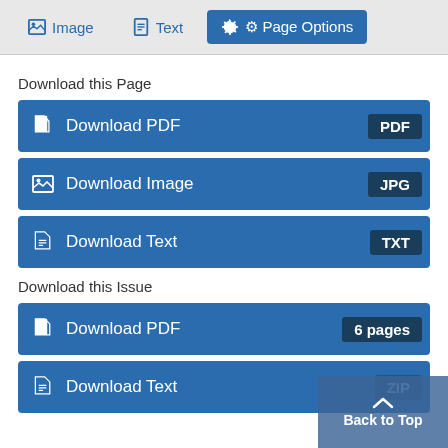Image  Text  Page Options
Download this Page
Download PDF  PDF
Download Image  JPG
Download Text  TXT
Download this Issue
Download PDF  6 pages
Download Text  ZIP
Back to Top